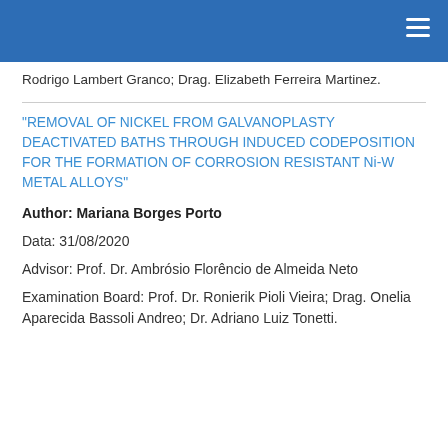Rodrigo Lambert Granco; Drag. Elizabeth Ferreira Martinez.
"REMOVAL OF NICKEL FROM GALVANOPLASTY DEACTIVATED BATHS THROUGH INDUCED CODEPOSITION FOR THE FORMATION OF CORROSION RESISTANT Ni-W METAL ALLOYS"
Author: Mariana Borges Porto
Data: 31/08/2020
Advisor: Prof. Dr. Ambrósio Florêncio de Almeida Neto
Examination Board: Prof. Dr. Ronierik Pioli Vieira; Drag. Onelia Aparecida Bassoli Andreo; Dr. Adriano Luiz Tonetti.